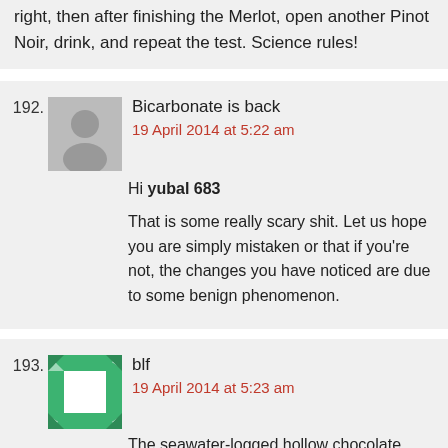right, then after finishing the Merlot, open another Pinot Noir, drink, and repeat the test. Science rules!
192. Bicarbonate is back
19 April 2014 at 5:22 am
Hi yubal 683
That is some really scary shit. Let us hope you are simply mistaken or that if you're not, the changes you have noticed are due to some benign phenomenon.
193. blf
19 April 2014 at 5:23 am
The seawater-logged hollow chocolate easter bison exploded during the night — I have no idea why and, weirdly, didn't hear a thing (I blame all the sirens,